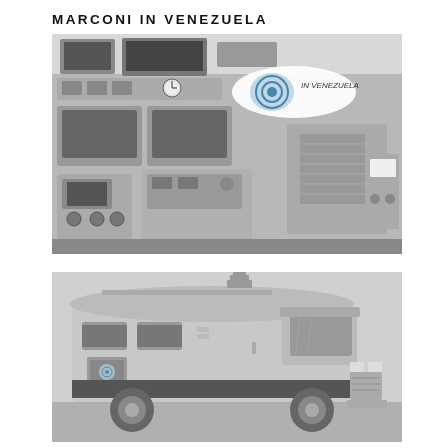MARCONI IN VENEZUELA
[Figure (photo): Interior of a mobile broadcasting/communications unit showing racks of electronic equipment, monitors, control panels, dials, gauges, and a clock. An oval logo badge reads 'Marconi IN VENEZUELA' overlaid in the upper right area of the image.]
[Figure (photo): Exterior view of a large streamlined mobile television/broadcasting truck or van, with a sleek metallic body, large windshield, side windows, and external fixtures. The vehicle is photographed from a low angle showing the front and side profile.]